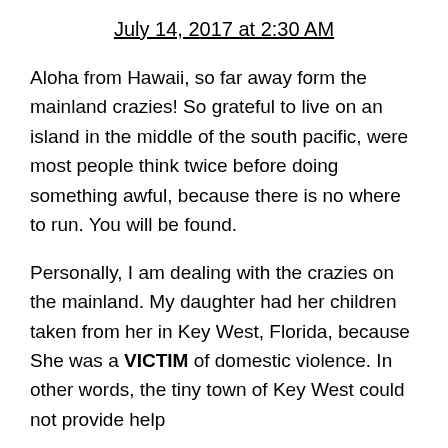July 14, 2017 at 2:30 AM
Aloha from Hawaii, so far away form the mainland crazies! So grateful to live on an island in the middle of the south pacific, were most people think twice before doing something awful, because there is no where to run. You will be found.
Personally, I am dealing with the crazies on the mainland. My daughter had her children taken from her in Key West, Florida, because She was a VICTIM of domestic violence. In other words, the tiny town of Key West could not provide help